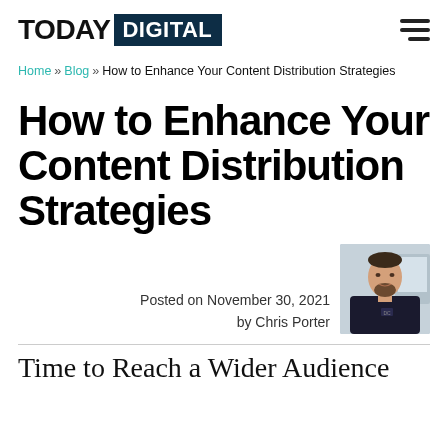TODAY DIGITAL
Home » Blog » How to Enhance Your Content Distribution Strategies
How to Enhance Your Content Distribution Strategies
Posted on November 30, 2021 by Chris Porter
[Figure (photo): Headshot photo of Chris Porter, a man with beard wearing a dark hoodie, sitting in front of a computer screen]
Time to Reach a Wider Audience